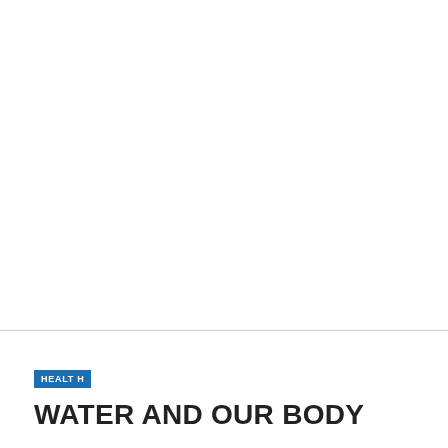[Figure (photo): Upper portion of page — blank white area representing top of a document page or image placeholder]
HEALTH
WATER AND OUR BODY